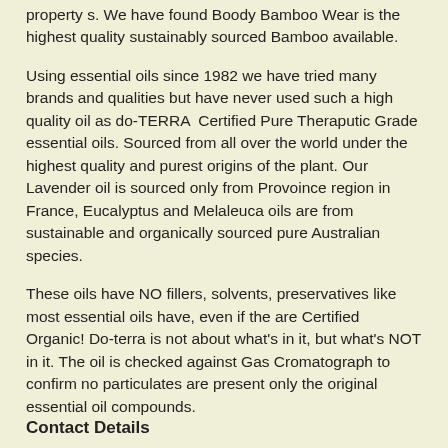property s. We have found Boody Bamboo Wear is the highest quality sustainably sourced Bamboo available.
Using essential oils since 1982 we have tried many brands and qualities but have never used such a high quality oil as do-TERRA  Certified Pure Theraputic Grade essential oils. Sourced from all over the world under the highest quality and purest origins of the plant. Our Lavender oil is sourced only from Provoince region in France, Eucalyptus and Melaleuca oils are from sustainable and organically sourced pure Australian species.
These oils have NO fillers, solvents, preservatives like most essential oils have, even if the are Certified Organic! Do-terra is not about what's in it, but what's NOT in it. The oil is checked against Gas Cromatograph to confirm no particulates are present only the original essential oil compounds.
Contact Details